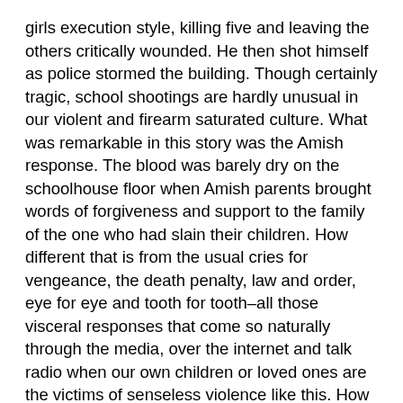girls execution style, killing five and leaving the others critically wounded. He then shot himself as police stormed the building. Though certainly tragic, school shootings are hardly unusual in our violent and firearm saturated culture. What was remarkable in this story was the Amish response. The blood was barely dry on the schoolhouse floor when Amish parents brought words of forgiveness and support to the family of the one who had slain their children. How different that is from the usual cries for vengeance, the death penalty, law and order, eye for eye and tooth for tooth–all those visceral responses that come so naturally through the media, over the internet and talk radio when our own children or loved ones are the victims of senseless violence like this. How do you account for such radical forgiveness, such unorthodox compassion?
I don't want to idolize the Amish. I have been around